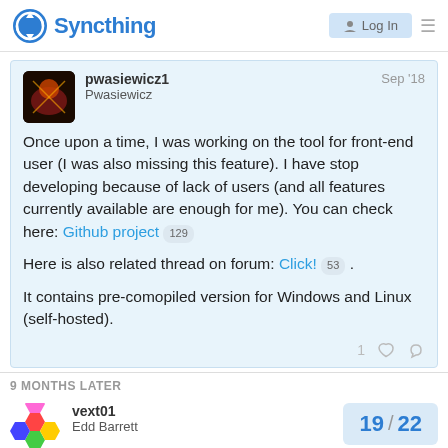Syncthing
pwasiewicz1 Pwasiewicz Sep '18
Once upon a time, I was working on the tool for front-end user (I was also missing this feature). I have stop developing because of lack of users (and all features currently available are enough for me). You can check here: Github project 129

Here is also related thread on forum: Click! 53 .

It contains pre-comopiled version for Windows and Linux (self-hosted).
9 MONTHS LATER
vext01 Edd Barrett
19 / 22